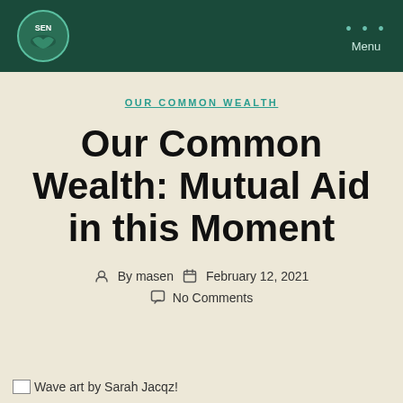SEN | Menu
OUR COMMON WEALTH
Our Common Wealth: Mutual Aid in this Moment
By masen  February 12, 2021  No Comments
Wave art by Sarah Jacqz!